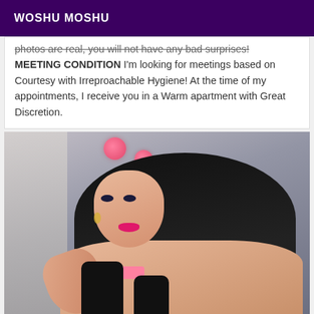WOSHU MOSHU
photos are real, you will not have any bad surprises! MEETING CONDITION I'm looking for meetings based on Courtesy with Irreproachable Hygiene! At the time of my appointments, I receive you in a Warm apartment with Great Discretion.
[Figure (photo): A young woman with long dark hair, wearing pink pom-pom hair accessories and pink lipstick, posing with her arms crossed, wearing black stockings and a pink bikini bottom, against a grey background.]